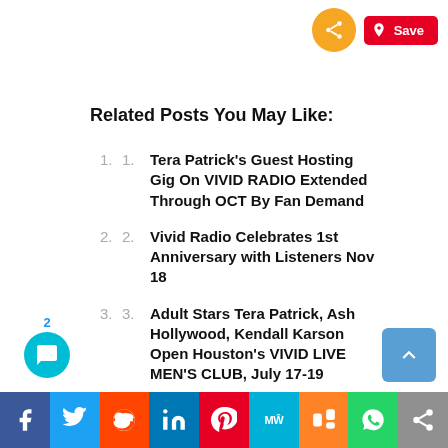Related Posts You May Like:
Tera Patrick's Guest Hosting Gig On VIVID RADIO Extended Through OCT By Fan Demand
Vivid Radio Celebrates 1st Anniversary with Listeners Nov 18
Adult Stars Tera Patrick, Ash Hollywood, Kendall Karson Open Houston's VIVID LIVE MEN'S CLUB, July 17-19
Adult Star Brandy Aniston Appearing at Houston's Vivid Live Men's Club
Adult Superstar Tera Patrick To Guest Host Vivid Radio On Wednesdays in September